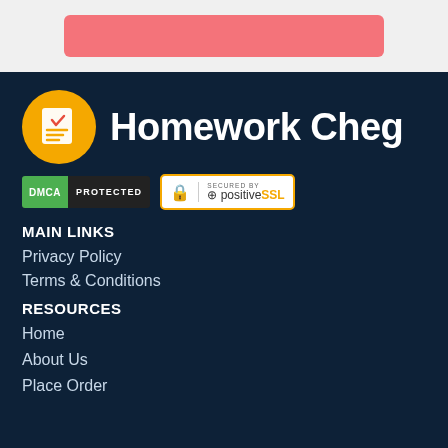[Figure (other): Pink/salmon colored button at top of page]
[Figure (logo): Homework Cheg logo: orange circle with document/checklist icon, followed by site name 'Homework Cheg' in bold white text]
[Figure (other): DMCA PROTECTED badge (green and dark badge) and Secured by positive SSL badge (white with gold border)]
MAIN LINKS
Privacy Policy
Terms & Conditions
RESOURCES
Home
About Us
Place Order